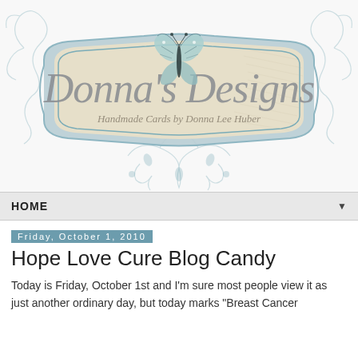[Figure (illustration): Decorative blog header banner for Donna's Designs blog. Features an ornate vintage-style label/shield shape with scrollwork and floral flourishes in muted teal/blue on a white background. Inside the label is cursive script text reading 'Donna's Designs' in large grey script, and below it smaller cursive text reading 'Handmade Cards by Donna Lee Huber'. A teal/blue monarch butterfly sits atop the center of the label. The overall style is shabby chic with a distressed parchment texture inside the label.]
HOME
Friday, October 1, 2010
Hope Love Cure Blog Candy
Today is Friday, October 1st and I'm sure most people view it as just another ordinary day, but today marks "Breast Cancer